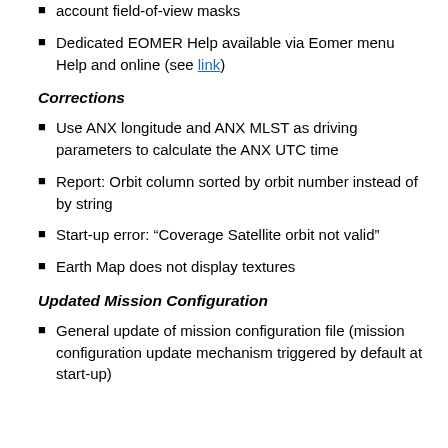account field-of-view masks
Dedicated EOMER Help available via Eomer menu Help and online (see link)
Corrections
Use ANX longitude and ANX MLST as driving parameters to calculate the ANX UTC time
Report: Orbit column sorted by orbit number instead of by string
Start-up error: “Coverage Satellite orbit not valid”
Earth Map does not display textures
Updated Mission Configuration
General update of mission configuration file (mission configuration update mechanism triggered by default at start-up)